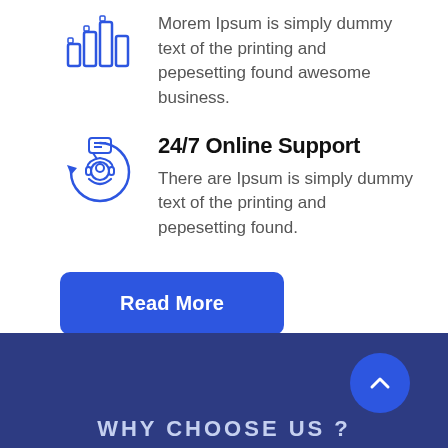[Figure (illustration): Blue outline icon of a bar chart / data analytics symbol]
Morem Ipsum is simply dummy text of the printing and pepesetting found awesome business.
[Figure (illustration): Blue outline icon of a customer support agent with headset and chat bubbles with circular arrows]
24/7 Online Support
There are Ipsum is simply dummy text of the printing and pepesetting found.
Read More
[Figure (illustration): Blue circular scroll-to-top button with upward chevron arrow]
WHY CHOOSE US ?